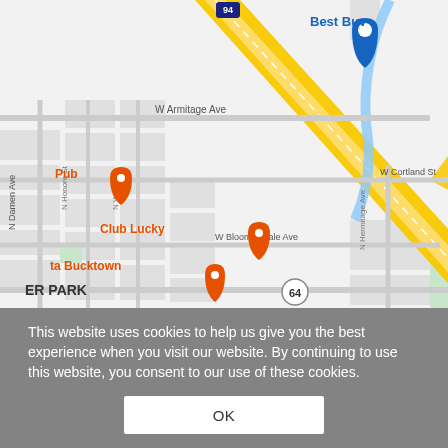[Figure (map): Google Maps screenshot showing Bucktown/Lincoln Park area of Chicago with streets including W Armitage Ave, W Cortland St, W Bloomingdale Ave, W North Ave, N Damen Ave, N Hermitage Ave, N Honore St, N Wood St, N Elston Ave, N Reily Ct, N Ashland Ave, Clybourn Ave, N Dominick St, N Kingsbury St. Shows I-94 highway, Clybourn train station, Walsh (John) Park in green, Best Buy store marker, The Hideout restaurant marker (orange), Club Lucky restaurant marker (orange), ta Bucktown restaurant marker (orange), Pub marker (orange), The Home Depot partial label. Route 64 circle marker visible bottom.]
This website uses cookies to help us give you the best experience when you visit our website. By continuing to use this website, you consent to our use of these cookies.